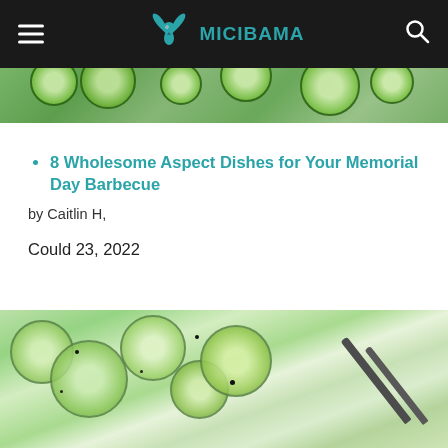MICIBAMA (logo with navigation hamburger menu and search icon)
[Figure (photo): Close-up photo of creamy cucumber salad dish, partially visible at the top of the page]
8 Wholesome Aspect Dishes for Your Memorial Day Barbecue
by Caitlin H,
Could 23, 2022
[Figure (photo): Close-up photo of creamy cucumber salad with sliced cucumbers, onions, black pepper, and dark-handled cutlery visible on the right side]